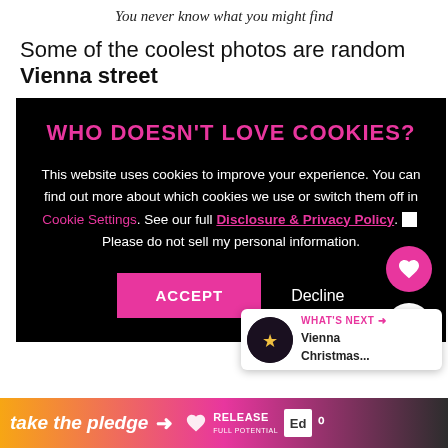You never know what you might find
Some of the coolest photos are random Vienna street
[Figure (screenshot): Cookie consent overlay on dark background with title 'WHO DOESN'T LOVE COOKIES?', body text about cookie usage, links for Cookie Settings and Disclosure & Privacy Policy, a checkbox for do not sell personal information, ACCEPT and Decline buttons, and heart/share action buttons on the right side.]
it later or it might be a temporary structure. This seems to be the case with my globe on a tree trunk
[Figure (infographic): Bottom banner with orange-to-pink gradient reading 'take the pledge' with arrow and brand logos including RELEASE and other icons on dark background.]